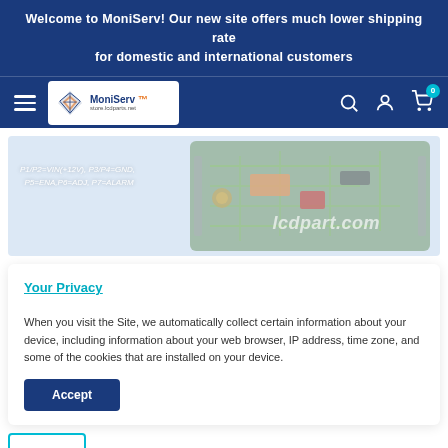Welcome to MoniServ! Our new site offers much lower shipping rate for domestic and international customers
[Figure (logo): MoniServ logo with diamond icon, brand name and tagline 'store.lcdparts.net']
[Figure (photo): Product image of a PCB/circuit board with text overlay: P1/P2=VIN(+12V), P3/P4=GND, P5=ENA,P6=ADJ, P7=ALARM and watermark lcdpart.com]
Your Privacy
When you visit the Site, we automatically collect certain information about your device, including information about your web browser, IP address, time zone, and some of the cookies that are installed on your device.